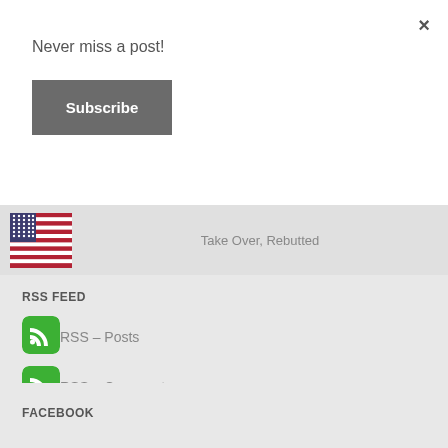×
Never miss a post!
[Figure (screenshot): Gray Subscribe button]
[Figure (photo): US flag thumbnail image]
Take Over, Rebutted
RSS FEED
[Figure (logo): Green RSS icon for Posts]
RSS – Posts
[Figure (logo): Green RSS icon for Comments]
RSS – Comments
FACEBOOK